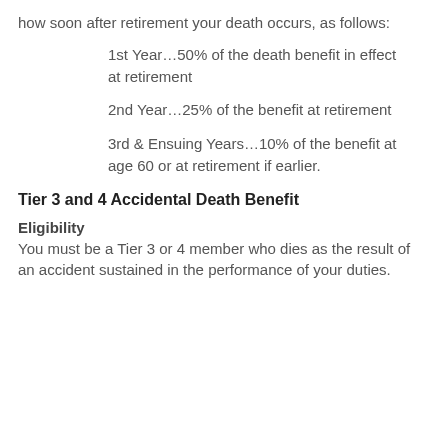how soon after retirement your death occurs, as follows:
1st Year…50% of the death benefit in effect at retirement
2nd Year…25% of the benefit at retirement
3rd & Ensuing Years…10% of the benefit at age 60 or at retirement if earlier.
Tier 3 and 4 Accidental Death Benefit
Eligibility
You must be a Tier 3 or 4 member who dies as the result of an accident sustained in the performance of your duties.